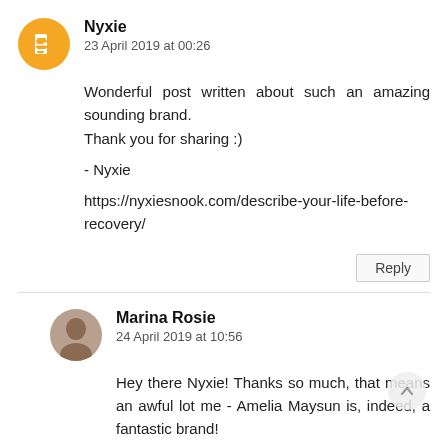Nyxie
23 April 2019 at 00:26
Wonderful post written about such an amazing sounding brand.
Thank you for sharing :)

- Nyxie

https://nyxiesnook.com/describe-your-life-before-recovery/
Reply
Marina Rosie
24 April 2019 at 10:56
Hey there Nyxie! Thanks so much, that means an awful lot me - Amelia Maysun is, indeed, a fantastic brand!